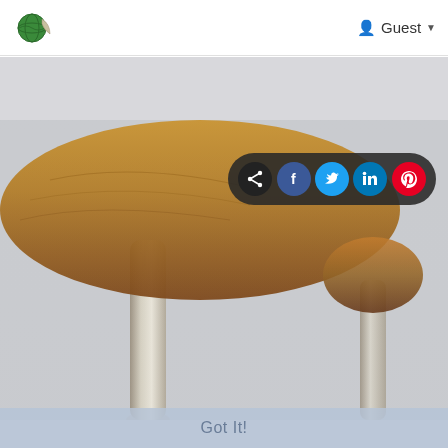Guest
[Figure (photo): Close-up photo of two mushrooms (psilocybe-like) with brown caps and slender pale stems on a light grey background, partially blurred]
[Figure (infographic): Social share toolbar with five circular icons: share (black), Facebook (blue), Twitter (light blue), LinkedIn (dark teal), Pinterest (red)]
Got It!